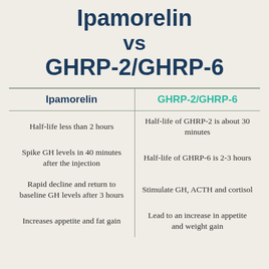Ipamorelin vs GHRP-2/GHRP-6
| Ipamorelin | GHRP-2/GHRP-6 |
| --- | --- |
| Half-life less than 2 hours | Half-life of GHRP-2 is about 30 minutes |
| Spike GH levels in 40 minutes after the injection | Half-life of GHRP-6 is 2-3 hours |
| Rapid decline and return to baseline GH levels after 3 hours | Stimulate GH, ACTH and cortisol |
| Increases appetite and fat gain | Lead to an increase in appetite and weight gain |